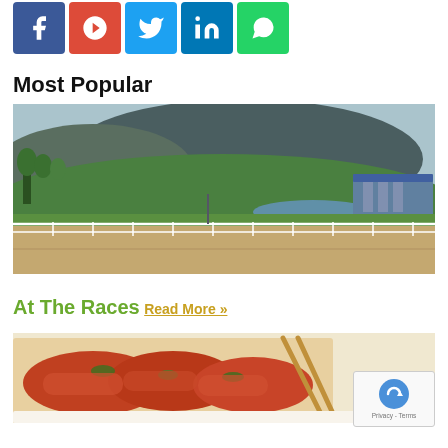[Figure (other): Social media share buttons row: Facebook (blue), Google+ (red), Twitter (blue), LinkedIn (blue), WhatsApp (green)]
Most Popular
[Figure (photo): Outdoor photograph of a horse racing track with green fields, a lake, grandstand structure, and mountains in the background under a hazy sky]
At The Races
Read More »
[Figure (photo): Close-up photo of a food dish — appears to be sauced pasta or stuffed cabbage rolls with tomato sauce and herbs, with chopsticks visible. A reCAPTCHA badge overlays the bottom-right corner.]